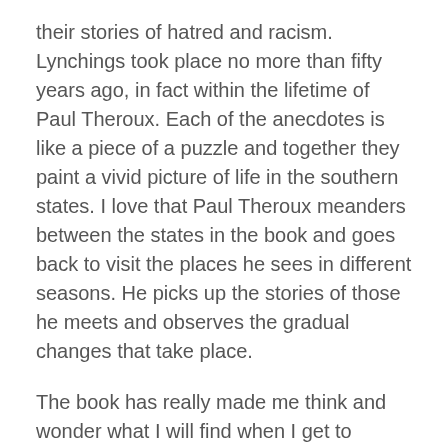their stories of hatred and racism. Lynchings took place no more than fifty years ago, in fact within the lifetime of Paul Theroux. Each of the anecdotes is like a piece of a puzzle and together they paint a vivid picture of life in the southern states. I love that Paul Theroux meanders between the states in the book and goes back to visit the places he sees in different seasons. He picks up the stories of those he meets and observes the gradual changes that take place.
The book has really made me think and wonder what I will find when I get to Alabama; Theroux describes such poverty and deprivation, the like of which he has only seen in parts of Africa and Asia. It seems racism is still entrenched and outsiders on a mission to ‘do good’ to the communities are viewed with suspicion. I’ve been assured by many